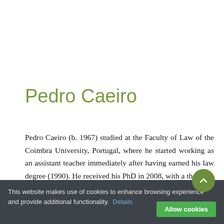Pedro Caeiro
Pedro Caeiro (b. 1967) studied at the Faculty of Law of the Coimbra University, Portugal, where he started working as an assistant teacher immediately after having earned his law degree (1990). He received his PhD in 2008, with a thesis on fundament, content and limits of the jurisdiction of the State over criminal matters. Since then, he is an Assistant Professor
This website makes use of cookies to enhance browsing experience and provide additional functionality. Details
Allow cookies